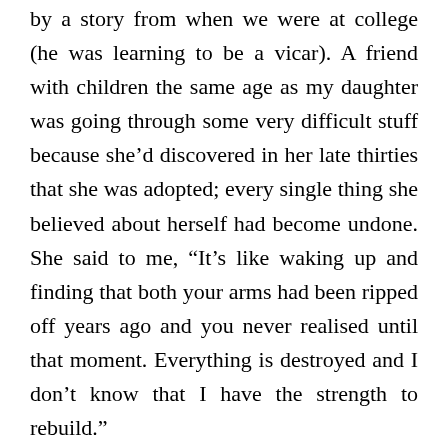by a story from when we were at college (he was learning to be a vicar). A friend with children the same age as my daughter was going through some very difficult stuff because she’d discovered in her late thirties that she was adopted; every single thing she believed about herself had become undone. She said to me, “It’s like waking up and finding that both your arms had been ripped off years ago and you never realised until that moment. Everything is destroyed and I don’t know that I have the strength to rebuild.”
Almost everything I own has a deeper meaning attached to it, whether it is a statue of Our Lady, a crystal point, a plaque of the Green Man, or even my choice of duvet cover (it’s got beautiful flowers on it, with their Latin